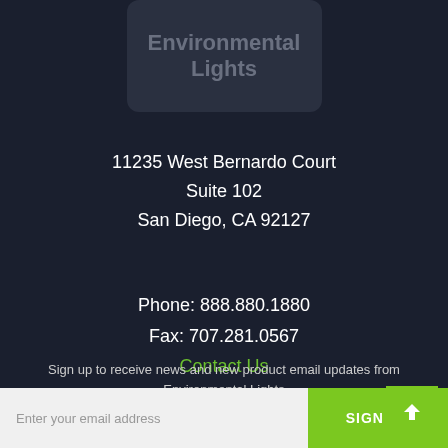[Figure (logo): Environmental Lights company logo, dark rounded rectangle with text]
11235 West Bernardo Court
Suite 102
San Diego, CA 92127
Phone: 888.880.1880
Fax: 707.281.0567
Contact Us
Sign up to receive news and new product email updates from Environmental Lights
Enter your email address
SIGN UP